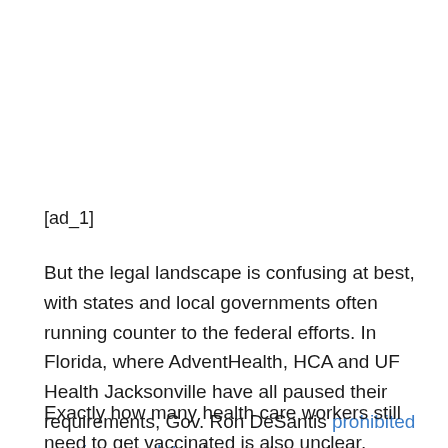[ad_1]
But the legal landscape is confusing at best, with states and local governments often running counter to the federal efforts. In Florida, where AdventHealth, HCA and UF Health Jacksonville have all paused their requirements, Gov. Ron DeSantis prohibited vaccine mandates by private employers shortly after the federal government issued its rule for health care workers.
Exactly how many health care workers still need to get vaccinated is also unclear. While a study by federal